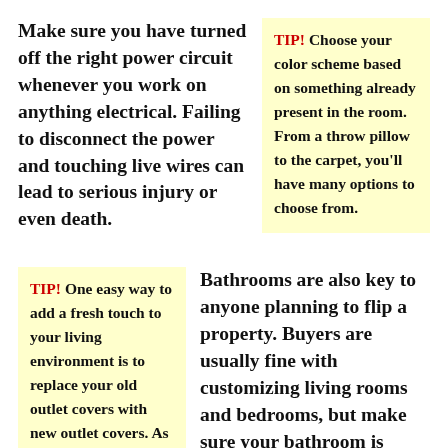Make sure you have turned off the right power circuit whenever you work on anything electrical. Failing to disconnect the power and touching live wires can lead to serious injury or even death.
TIP! Choose your color scheme based on something already present in the room. From a throw pillow to the carpet, you'll have many options to choose from.
TIP! One easy way to add a fresh touch to your living environment is to replace your old outlet covers with new outlet covers. As
Bathrooms are also key to anyone planning to flip a property. Buyers are usually fine with customizing living rooms and bedrooms, but make sure your bathroom is attractive and in good